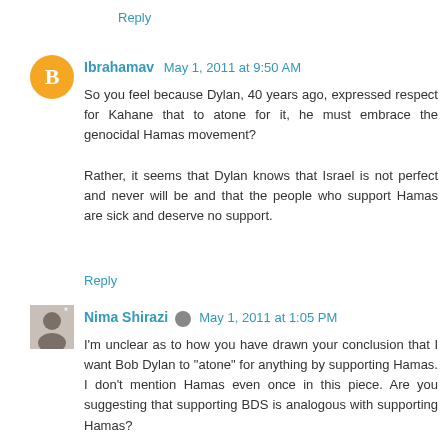Reply
Ibrahamav May 1, 2011 at 9:50 AM
So you feel because Dylan, 40 years ago, expressed respect for Kahane that to atone for it, he must embrace the genocidal Hamas movement?

Rather, it seems that Dylan knows that Israel is not perfect and never will be and that the people who support Hamas are sick and deserve no support.
Reply
Nima Shirazi May 1, 2011 at 1:05 PM
I'm unclear as to how you have drawn your conclusion that I want Bob Dylan to "atone" for anything by supporting Hamas. I don't mention Hamas even once in this piece. Are you suggesting that supporting BDS is analogous with supporting Hamas?